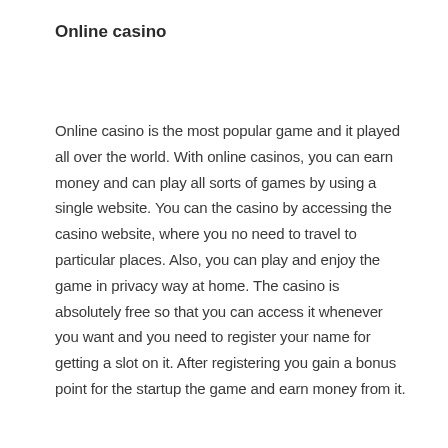Online casino
Online casino is the most popular game and it played all over the world. With online casinos, you can earn money and can play all sorts of games by using a single website. You can the casino by accessing the casino website, where you no need to travel to particular places. Also, you can play and enjoy the game in privacy way at home. The casino is absolutely free so that you can access it whenever you want and you need to register your name for getting a slot on it. After registering you gain a bonus point for the startup the game and earn money from it.